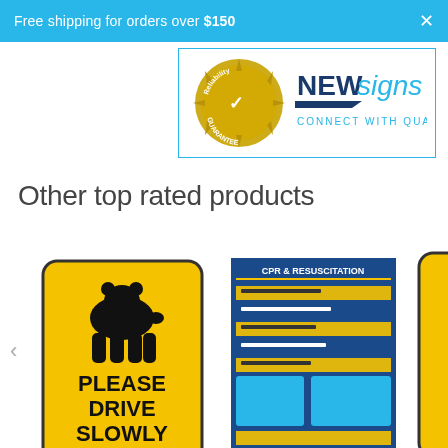Free shipping for orders over $150
[Figure (logo): NewSigns logo with reliability guarantee seal and 'CONNECT WITH QUALITY' tagline]
Other top rated products
[Figure (illustration): Yellow sign with black bear silhouette reading PLEASE DRIVE SLOWLY — product image for Wombat Cute Pl...]
[Figure (illustration): Blue CPR & Resuscitation instructional chart — product image for CPR Resuscitati...]
[Figure (illustration): Partial yellow sign — product image for Ec...]
Wombat Cute Pl...
CPR Resuscitati...
Ec